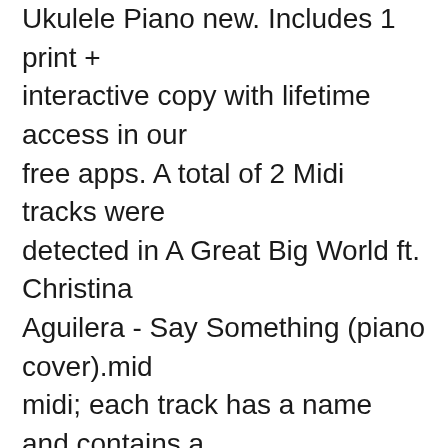Ukulele Piano new. Includes 1 print + interactive copy with lifetime access in our free apps. A total of 2 Midi tracks were detected in A Great Big World ft. Christina Aguilera - Say Something (piano cover).mid midi; each track has a name and contains a sequence of midi events. The hystogmam below is the result of such an analysis perfoemed on Say Something (Piano).MID- Instead, our system considers things like how recent a review is and if the reviewer bought the item on Amazon. 60 Days FREE Ultimate Piano Course: Improve Your Piano Skills: https://skl.sh/2uWOYl0 Solo & Accompaniment, and Instrumental Parts in Eb Major. The song "Say Something" tells the